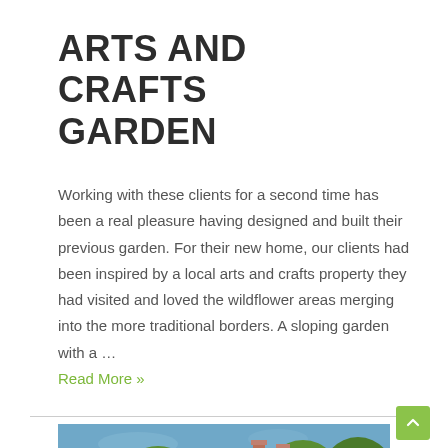ARTS AND CRAFTS GARDEN
Working with these clients for a second time has been a real pleasure having designed and built their previous garden. For their new home, our clients had been inspired by a local arts and crafts property they had visited and loved the wildflower areas merging into the more traditional borders. A sloping garden with a …
Read More »
[Figure (photo): Photograph of a building with chimneys visible above green trees against a blue sky.]